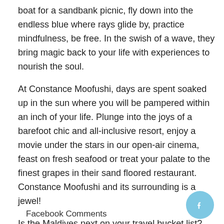boat for a sandbank picnic, fly down into the endless blue where rays glide by, practice mindfulness, be free. In the swish of a wave, they bring magic back to your life with experiences to nourish the soul.
At Constance Moofushi, days are spent soaked up in the sun where you will be pampered within an inch of your life. Plunge into the joys of a barefoot chic and all-inclusive resort, enjoy a movie under the stars in our open-air cinema, feast on fresh seafood or treat your palate to the finest grapes in their sand floored restaurant. Constance Moofushi and its surrounding is a jewel!
Is the Maldives next on your travel bucket list? Book your stay at Constance Halaveli or Constance Moofushi and enjoy our Maldives Holiday offer.
Facebook Comments